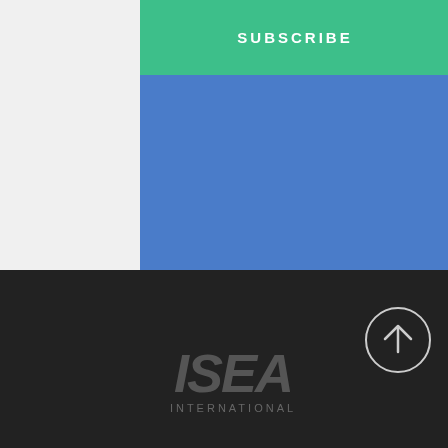[Figure (screenshot): Subscribe button — green rectangular button with white bold uppercase text 'SUBSCRIBE' with letter-spacing, positioned at the top of a blue panel]
[Figure (illustration): Blue panel background filling center-right of upper half of the page]
[Figure (logo): ISEA International logo: large bold italic gray letters 'ISEA' above smaller uppercase spaced text 'INTERNATIONAL', shown on dark background in bottom section]
[Figure (illustration): Circular up-arrow icon in light gray outline on dark background, bottom right area]